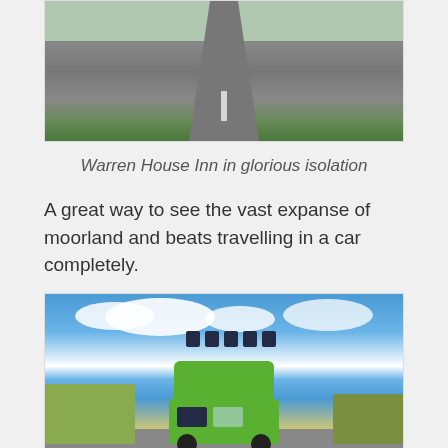[Figure (photo): Aerial/road view of a moorland road in isolation, Warren House Inn area, green grass on both sides]
Warren House Inn in glorious isolation
A great way to see the vast expanse of moorland and beats travelling in a car completely.
[Figure (photo): A green double-decker bus travelling along a moorland road under a blue sky with white clouds]